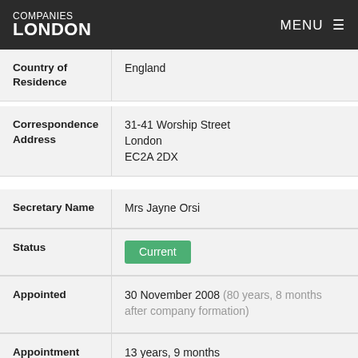COMPANIES LONDON | MENU
| Field | Value |
| --- | --- |
| Country of Residence | England |
| Correspondence Address | 31-41 Worship Street
London
EC2A 2DX |
| Secretary Name | Mrs Jayne Orsi |
| Status | Current |
| Appointed | 30 November 2008 (80 years, 8 months after company formation) |
| Appointment Duration | 13 years, 9 months |